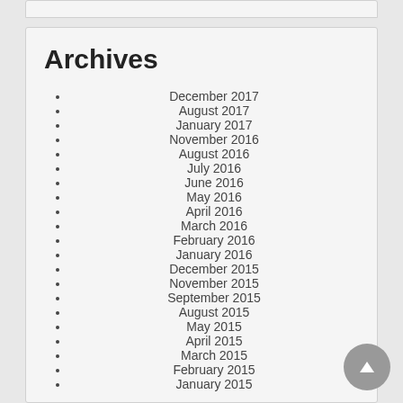Archives
December 2017
August 2017
January 2017
November 2016
August 2016
July 2016
June 2016
May 2016
April 2016
March 2016
February 2016
January 2016
December 2015
November 2015
September 2015
August 2015
May 2015
April 2015
March 2015
February 2015
January 2015